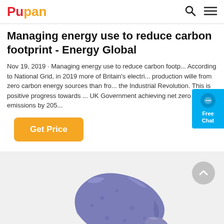Pupan
Managing energy use to reduce carbon footprint - Energy Global
Nov 19, 2019 · Managing energy use to reduce carbon footp... According to National Grid, in 2019 more of Britain's electri... production wille from zero carbon energy sources than fro... the Industrial Revolution. This is positive progress towards ... UK Government achieving net zero carbon emissions by 205...
[Figure (illustration): Orange 'Get Price' button]
[Figure (photo): Photo of blue/purple mineral rocks on a light grey background, with a grey scroll-up arrow button in upper right]